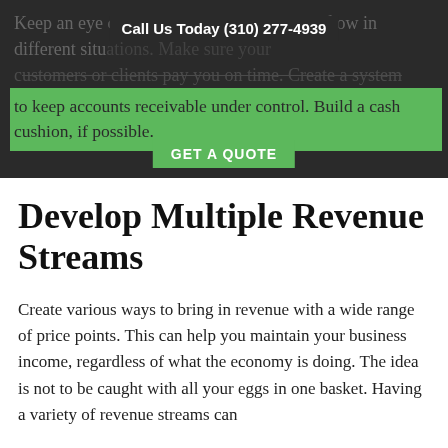Keep an eye on what happens to your cash flow in different situations. Make sure your customers or clients pay you on time. Create a system to keep accounts receivable under control. Build a cash cushion, if possible.
Call Us Today (310) 277-4939
[Figure (other): Green GET A QUOTE button overlay]
Develop Multiple Revenue Streams
Create various ways to bring in revenue with a wide range of price points. This can help you maintain your business income, regardless of what the economy is doing. The idea is not to be caught with all your eggs in one basket. Having a variety of revenue streams can